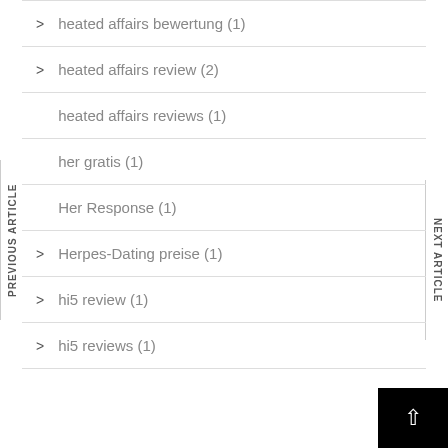heated affairs bewertung (1)
heated affairs review (2)
heated affairs reviews (1)
her gratis (1)
Her Response (1)
Herpes-Dating preise (1)
hi5 review (1)
hi5 reviews (1)